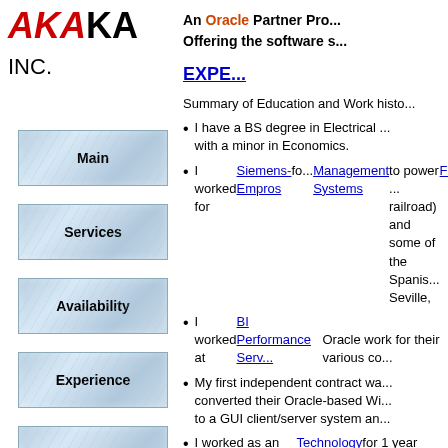AKAKA INC.
An Oracle Partner Pro... Offering the software s...
EXPE...
[Figure (screenshot): Navigation button: Main]
[Figure (screenshot): Navigation button: Services]
[Figure (screenshot): Navigation button: Availability]
[Figure (screenshot): Navigation button: Experience]
[Figure (screenshot): Navigation button: Rates]
Summary of Education and Work histo...
I have a BS degree in Electrical ... with a minor in Economics.
I worked for Siemens-Empros fo... Management Systems to power ... railroad) and some of the Spanis... Seville, Fecsa - Barcelona).
I worked at BI Performance Serv... Oracle work for their various co...
My first independent contract wa... converted their Oracle-based Wi... to a GUI client/server system an...
I worked as an independent cont... Technology for 1 year creating ... Oracle Applications system...